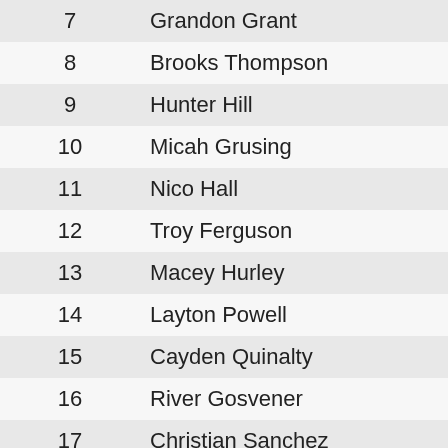| # | Name |
| --- | --- |
| 7 | Grandon Grant |
| 8 | Brooks Thompson |
| 9 | Hunter Hill |
| 10 | Micah Grusing |
| 11 | Nico Hall |
| 12 | Troy Ferguson |
| 13 | Macey Hurley |
| 14 | Layton Powell |
| 15 | Cayden Quinalty |
| 16 | River Gosvener |
| 17 | Christian Sanchez |
| 18 | Vinícius Pimentel DE Carval |
| 19 | Josh Hartsock |
| 20 | Eli Drain |
| 21 | Aubree Wille |
| 22 | Taylor Thompson |
| 23 | Daniel Furlano |
| 24 | Laura Santillan |